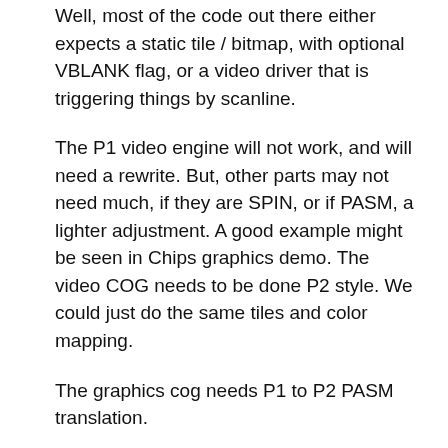Well, most of the code out there either expects a static tile / bitmap, with optional VBLANK flag, or a video driver that is triggering things by scanline.
The P1 video engine will not work, and will need a rewrite. But, other parts may not need much, if they are SPIN, or if PASM, a lighter adjustment. A good example might be seen in Chips graphics demo. The video COG needs to be done P2 style. We could just do the same tiles and color mapping.
The graphics cog needs P1 to P2 PASM translation.
The Spin program should work almost completely unchanged.
So long as the sweep frequencies are the same, a whole lot can be made to work. Replace the video COG, and then evaluate what the others are doing and how they are triggered, communicated with.
Some of the more software video drivers may not be optimal done on a P2. However, many of those were about